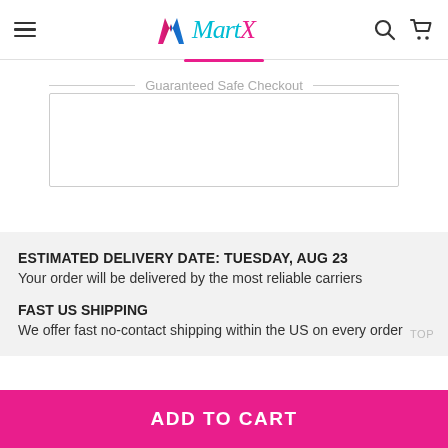MartX
Guaranteed Safe Checkout
ESTIMATED DELIVERY DATE: TUESDAY, AUG 23
Your order will be delivered by the most reliable carriers
FAST US SHIPPING
We offer fast no-contact shipping within the US on every order
ADD TO CART